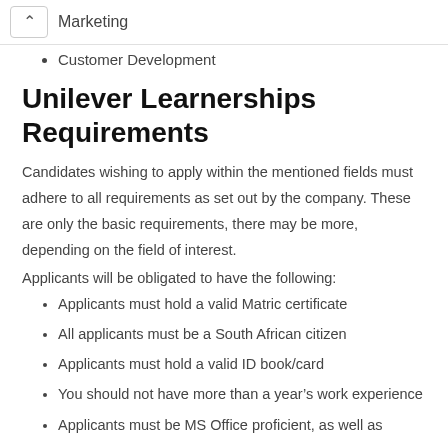Marketing
Customer Development
Unilever Learnerships Requirements
Candidates wishing to apply within the mentioned fields must adhere to all requirements as set out by the company. These are only the basic requirements, there may be more, depending on the field of interest.
Applicants will be obligated to have the following:
Applicants must hold a valid Matric certificate
All applicants must be a South African citizen
Applicants must hold a valid ID book/card
You should not have more than a year’s work experience
Applicants must be MS Office proficient, as well as